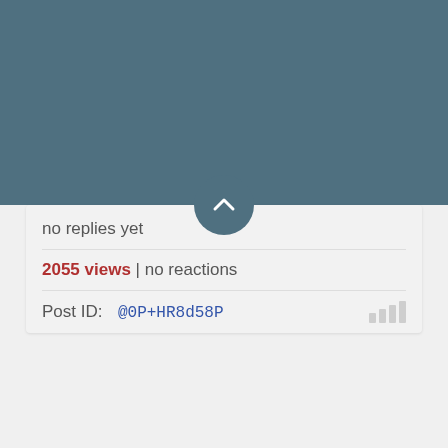[Figure (screenshot): Top dark teal/steel blue header bar of a forum or social platform UI]
no replies yet
2055 views | no reactions
Post ID:  @0P+HR8d58P